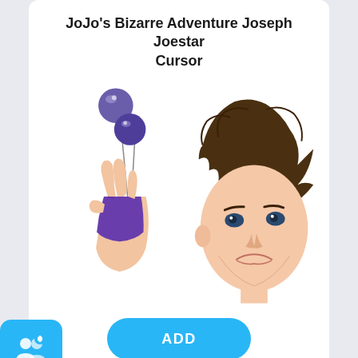JoJo's Bizarre Adventure Joseph Joestar Cursor
[Figure (illustration): Anime illustration of Joseph Joestar's hand holding clackers/marbles on strings, alongside a detailed anime face of Joseph Joestar with spiky brown hair]
[Figure (screenshot): Blue ADD button with rounded corners]
[Figure (logo): Blue rounded square icon with two overlapping person silhouettes and a plus sign]
JoJo's Bizarre Adventure Suzi Q Cursor
[Figure (illustration): Partial anime illustrations: a red/orange pointed object on the left and a white-haired female anime character on the right, both cropped at the bottom]